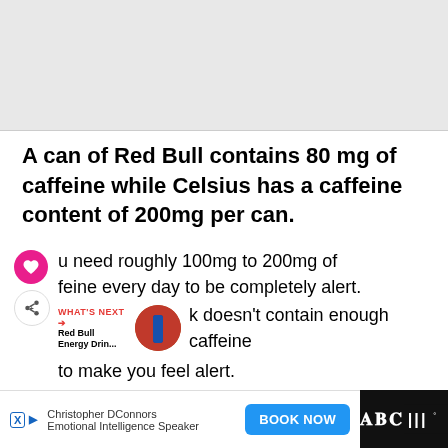[Figure (photo): Gray placeholder image area at the top of the page]
A can of Red Bull contains 80 mg of caffeine while Celsius has a caffeine content of 200mg per can.
You need roughly 100mg to 200mg of caffeine every day to be completely alert. Unfortunately, a single can of Red Bull drink doesn't contain enough caffeine to make you feel alert.
[Figure (photo): Red Bull energy drink thumbnail image in a circular frame with 'WHAT'S NEXT' label]
[Figure (screenshot): Advertisement bar at the bottom: Christopher DConnors, Emotional Intelligence Speaker, BOOK NOW button, with ad icons on the left and a dark bar on the right]